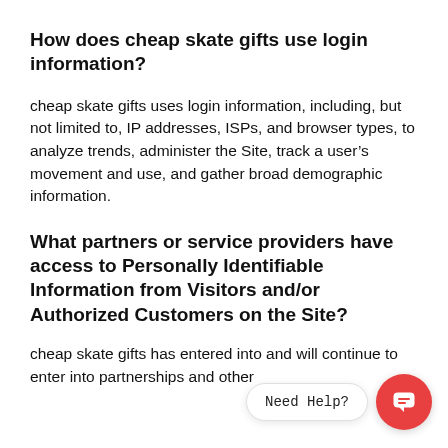How does cheap skate gifts use login information?
cheap skate gifts uses login information, including, but not limited to, IP addresses, ISPs, and browser types, to analyze trends, administer the Site, track a user’s movement and use, and gather broad demographic information.
What partners or service providers have access to Personally Identifiable Information from Visitors and/or Authorized Customers on the Site?
cheap skate gifts has entered into and will continue to enter into partnerships and other